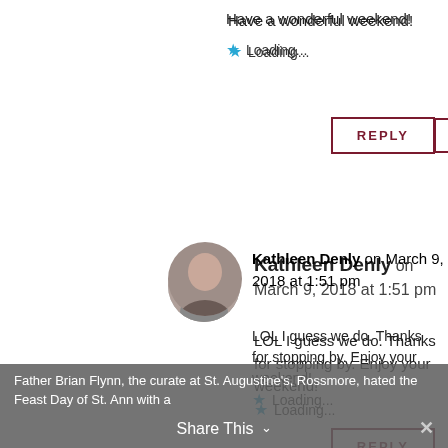Have a wonderful weekend!
Loading...
REPLY
Kathleen Denly on March 9, 2018 at 1:51 pm
LOL I guess we do. Thanks for stopping by. Enjoy your weekend!
Loading...
REPLY
carylkane on March 9, 2018 at 7:39 am
I LOVE Michelle's books!
Father Brian Flynn, the curate at St. Augustine's, Rossmore, hated the Feast Day of St. Ann with a
Share This